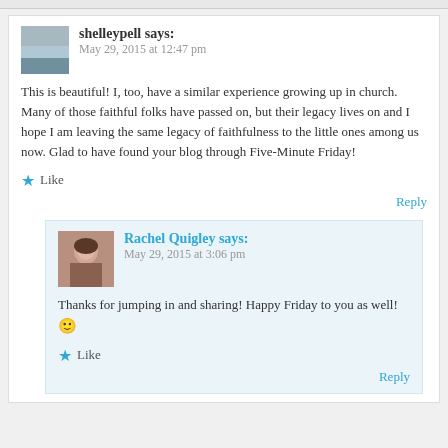shelleypell says: May 29, 2015 at 12:47 pm
This is beautiful! I, too, have a similar experience growing up in church. Many of those faithful folks have passed on, but their legacy lives on and I hope I am leaving the same legacy of faithfulness to the little ones among us now. Glad to have found your blog through Five-Minute Friday!
Like
Reply
Rachel Quigley says: May 29, 2015 at 3:06 pm
Thanks for jumping in and sharing! Happy Friday to you as well! 🙂
Like
Reply